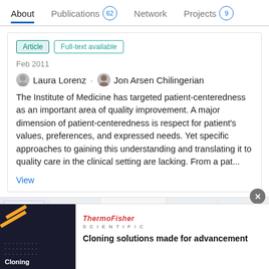About  Publications 62  Network  Projects 9
Article  Full-text available
Feb 2011
Laura Lorenz · Jon Arsen Chilingerian
The Institute of Medicine has targeted patient-centeredness as an important area of quality improvement. A major dimension of patient-centeredness is respect for patient's values, preferences, and expressed needs. Yet specific approaches to gaining this understanding and translating it to quality care in the clinical setting are lacking. From a pat...
View
[Figure (screenshot): Advertisement strip with thumbnail images and 'Advertisement' label]
[Figure (infographic): ThermoFisher Scientific advertisement banner: 'Cloning solutions made for advancement']